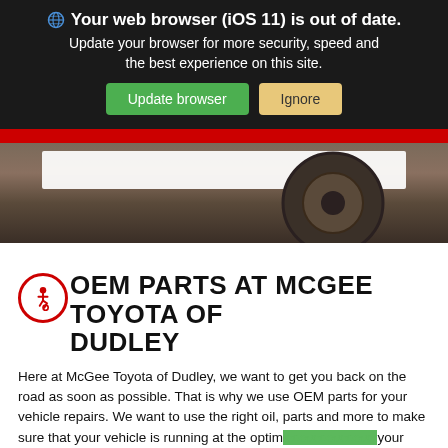[Figure (screenshot): Browser update warning banner on a dark background with globe icon, bold warning text, green 'Update browser' button and tan 'Ignore' button]
[Figure (photo): Hero image showing rocky/dirt background with a large tire visible, and a white horizontal bar overlay near the top]
OEM PARTS AT MCGEE TOYOTA OF DUDLEY
Here at McGee Toyota of Dudley, we want to get you back on the road as soon as possible. That is why we use OEM parts for your vehicle repairs. We want to use the right oil, parts and more to make sure that your vehicle is running at the optimum level. Bring your Toyota model to our service department, and we'll see what we can do to make sure it runs like new.